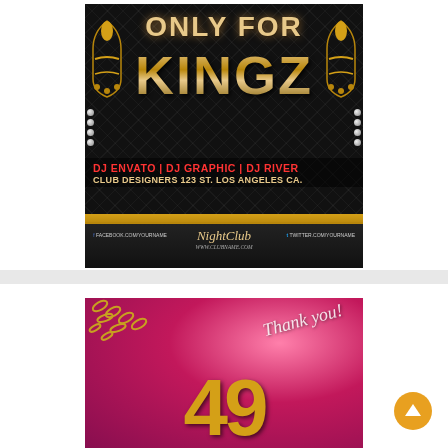[Figure (illustration): Nightclub event flyer with dark quilted black background, gold ornamental corners, large text reading 'ONLY FOR KINGZ', DJ names 'DJ ENVATO | DJ GRAPHIC | DJ RIVER', address 'CLUB DESIGNERS 123 ST. LOS ANGELES CA.', social media handles, NightClub logo, and website www.clubname.com]
[Figure (illustration): Pink/magenta event flyer with 'Thank you!' in cursive script, gold jewelry chains, diamond rings, and large gold number '49' partially visible at bottom]